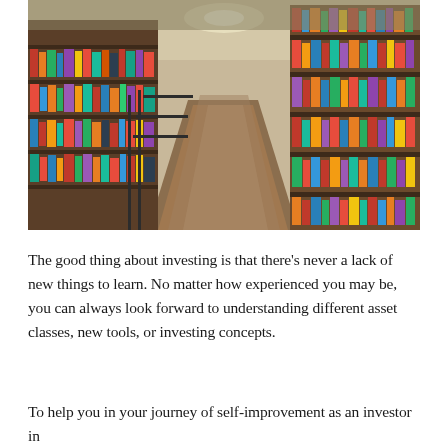[Figure (photo): Interior of a curved library with tall bookshelves filled with colorful books on both sides, forming a long corridor perspective with a wooden walkway in the center.]
The good thing about investing is that there's never a lack of new things to learn. No matter how experienced you may be, you can always look forward to understanding different asset classes, new tools, or investing concepts.
To help you in your journey of self-improvement as an investor in